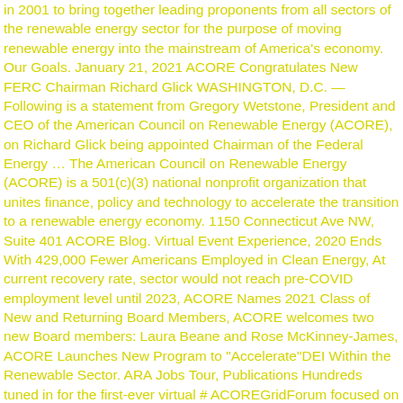in 2001 to bring together leading proponents from all sectors of the renewable energy sector for the purpose of moving renewable energy into the mainstream of America's economy. Our Goals. January 21, 2021 ACORE Congratulates New FERC Chairman Richard Glick WASHINGTON, D.C. — Following is a statement from Gregory Wetstone, President and CEO of the American Council on Renewable Energy (ACORE), on Richard Glick being appointed Chairman of the Federal Energy … The American Council on Renewable Energy (ACORE) is a 501(c)(3) national nonprofit organization that unites finance, policy and technology to accelerate the transition to a renewable energy economy. 1150 Connecticut Ave NW, Suite 401 ACORE Blog. Virtual Event Experience, 2020 Ends With 429,000 Fewer Americans Employed in Clean Energy, At current recovery rate, sector would not reach pre-COVID employment level until 2023, ACORE Names 2021 Class of New and Returning Board Members, ACORE welcomes two new Board members: Laura Beane and Rose McKinney-James, ACORE Launches New Program to "Accelerate"DEI Within the Renewable Sector. ARA Jobs Tour, Publications Hundreds tuned in for the first-ever virtual # ACOREGridForum focused on maximizing renewables integration through grid … Member Directory Grid Mission: Founded in 2001, the American Council on Renewable Energy (ACORE) is a 501 (c) (3) national nonprofit organization that unites finance, policy and technology to accelerate the transition to a … Membership Opportunities You … The